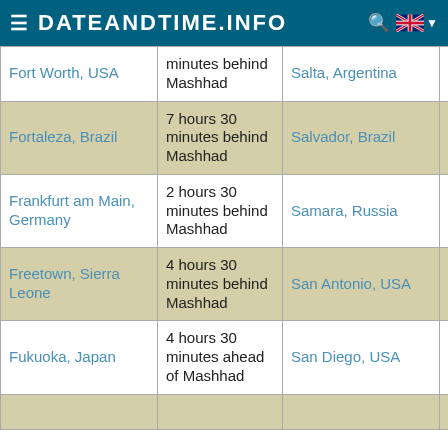DATEANDTIME.INFO
| City | Time difference | City | Time difference |
| --- | --- | --- | --- |
| Fort Worth, USA | minutes behind Mashhad | Salta, Argentina | minutes behind Mashhad |
| Fortaleza, Brazil | 7 hours 30 minutes behind Mashhad | Salvador, Brazil | 7 hours 30 minutes behind Mashhad |
| Frankfurt am Main, Germany | 2 hours 30 minutes behind Mashhad | Samara, Russia | 30 minutes behind Mashhad |
| Freetown, Sierra Leone | 4 hours 30 minutes behind Mashhad | San Antonio, USA | 9 hours 30 minutes behind Mashhad |
| Fukuoka, Japan | 4 hours 30 minutes ahead of Mashhad | San Diego, USA | 11 hours 30 minutes behind Mashhad |